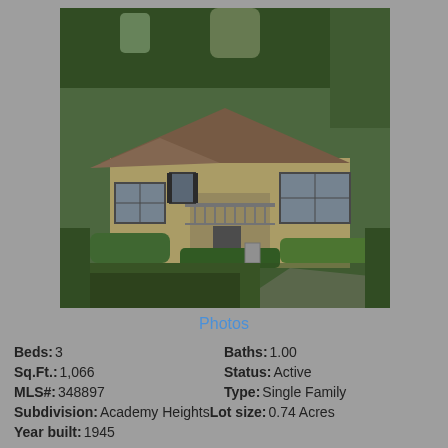[Figure (photo): Exterior photo of a single-story ranch-style house with beige siding, a front porch, surrounded by large trees and green hedges, with a grass front yard.]
Photos
Beds: 3    Baths: 1.00
Sq.Ft.: 1,066    Status: Active
MLS#: 348897    Type: Single Family
Subdivision: Academy Heights    Lot size: 0.74 Acres
Year built: 1945